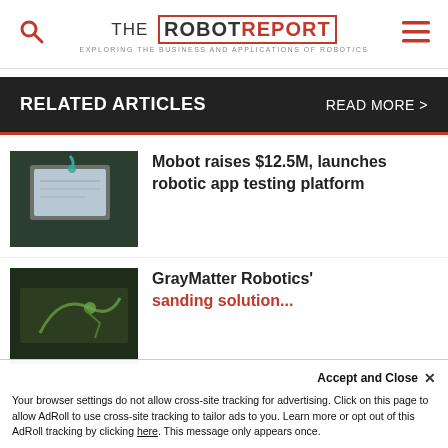THE ROBOT REPORT — EXPLORING THE BUSINESS AND APPLICATIONS OF ROBOTICS
RELATED ARTICLES    READ MORE >
[Figure (photo): Robotic arm testing a mobile app on a smartphone screen, industrial setting]
Mobot raises $12.5M, launches robotic app testing platform
[Figure (photo): GrayMatter Robotics industrial sanding robot in a factory setting]
GrayMatter Robotics' sanding solution...
Accept and Close ×
Your browser settings do not allow cross-site tracking for advertising. Click on this page to allow AdRoll to use cross-site tracking to tailor ads to you. Learn more or opt out of this AdRoll tracking by clicking here. This message only appears once.